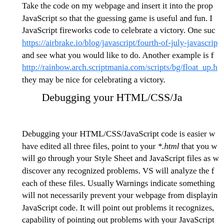Take the code on my webpage and insert it into the prop JavaScript so that the guessing game is useful and fun. I JavaScript fireworks code to celebrate a victory. One suc https://airbrake.io/blog/javascript/fourth-of-july-javascrip and see what you would like to do. Another example is f http://rainbow.arch.scriptmania.com/scripts/bg/float_up.h they may be nice for celebrating a victory.
Debugging your HTML/CSS/Ja
Debugging your HTML/CSS/JavaScript code is easier w have edited all three files, point to your *.html that you w will go through your Style Sheet and JavaScript files as w discover any recognized problems. VS will analyze the f each of these files. Usually Warnings indicate something will not necessarily prevent your webpage from displayin JavaScript code. It will point out problems it recognizes, capability of pointing out problems with your JavaScript execution of your code. I am currently working on figuri